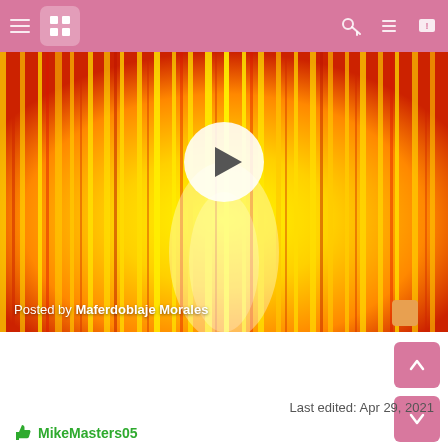Navigation bar with hamburger menu, logo, key icon, list icon, notification icon
[Figure (screenshot): Video thumbnail showing bright yellow and red flame-like animation with a white play button circle in the center. Text overlay reads 'Posted by Maferdoblaje Morales' at the bottom left.]
Last edited: Apr 29, 2021
MikeMasters05